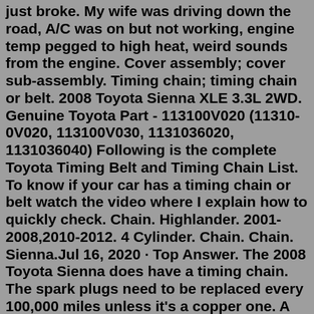just broke. My wife was driving down the road, A/C was on but not working, engine temp pegged to high heat, weird sounds from the engine. Cover assembly; cover sub-assembly. Timing chain; timing chain or belt. 2008 Toyota Sienna XLE 3.3L 2WD. Genuine Toyota Part - 113100V020 (11310-0V020, 113100V030, 1131036020, 1131036040) Following is the complete Toyota Timing Belt and Timing Chain List. To know if your car has a timing chain or belt watch the video where I explain how to quickly check. Chain. Highlander. 2001-2008,2010-2012. 4 Cylinder. Chain. Chain. Sienna.Jul 16, 2020 · Top Answer. The 2008 Toyota Sienna does have a timing chain. The spark plugs need to be replaced every 100,000 miles unless it's a copper one. A cooper spark plug needs to be replaced every 30,000 miles. Your air filter needs to be replaced every 15,000 to 30,000 miles. The coolant needs to be replaced every 60,000 miles. Browse PLATE, TIMING CHAIN COVER for your 2008 Toyota Sienna 3.3L 2WD . Return Home Select New Vehicle Select a 2008 Toyota Sienna 3.3L 2WD Trim